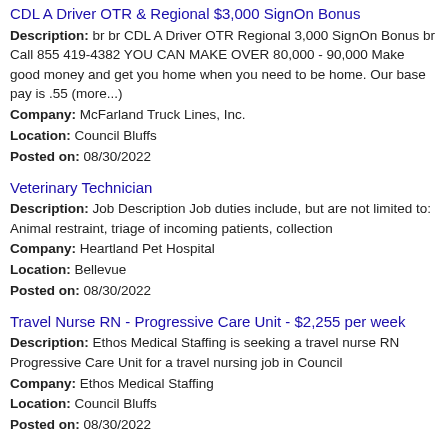CDL A Driver OTR & Regional $3,000 SignOn Bonus
Description: br br CDL A Driver OTR Regional 3,000 SignOn Bonus br Call 855 419-4382 YOU CAN MAKE OVER 80,000 - 90,000 Make good money and get you home when you need to be home. Our base pay is .55 (more...)
Company: McFarland Truck Lines, Inc.
Location: Council Bluffs
Posted on: 08/30/2022
Veterinary Technician
Description: Job Description Job duties include, but are not limited to: Animal restraint, triage of incoming patients, collection
Company: Heartland Pet Hospital
Location: Bellevue
Posted on: 08/30/2022
Travel Nurse RN - Progressive Care Unit - $2,255 per week
Description: Ethos Medical Staffing is seeking a travel nurse RN Progressive Care Unit for a travel nursing job in Council
Company: Ethos Medical Staffing
Location: Council Bluffs
Posted on: 08/30/2022